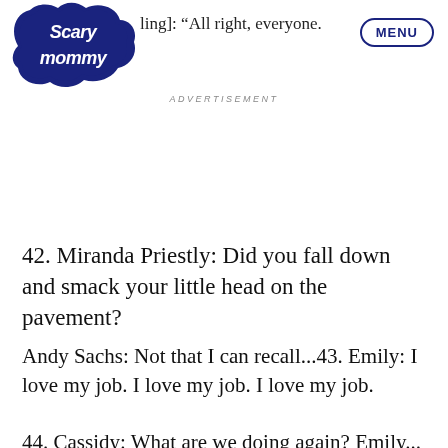[Figure (logo): Scary Mommy logo in dark navy blue, stylized cursive text inside a cloud-like shape]
[ling]: “All right, everyone.
MENU
ADVERTISEMENT
42. Miranda Priestly: Did you fall down and smack your little head on the pavement?
Andy Sachs: Not that I can recall...43. Emily: I love my job. I love my job. I love my job.
44. Cassidy: What are we doing again? Emily...